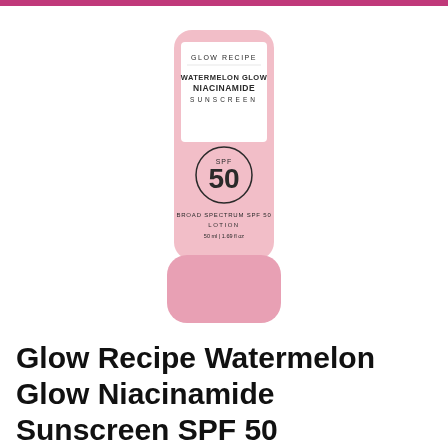[Figure (photo): Product photo of Glow Recipe Watermelon Glow Niacinamide Sunscreen SPF 50 bottle. A tall cylindrical pink bottle with a white label showing brand name 'GLOW RECIPE', product name 'WATERMELON GLOW NIACINAMIDE SUNSCREEN', and a circle badge showing 'SPF 50'. Below reads 'BROAD SPECTRUM SPF 50 LOTION 50 ml | 1.69 fl oz'. The bottle has a darker pink pump/cap at the bottom.]
Glow Recipe Watermelon Glow Niacinamide Sunscreen SPF 50